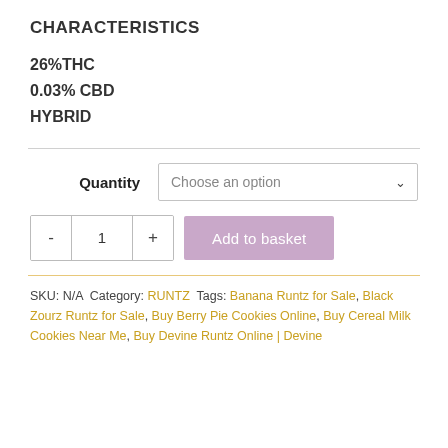CHARACTERISTICS
26%THC
0.03% CBD
HYBRID
Quantity  Choose an option
- 1 +  Add to basket
SKU: N/A  Category: RUNTZ  Tags: Banana Runtz for Sale, Black Zourz Runtz for Sale, Buy Berry Pie Cookies Online, Buy Cereal Milk Cookies Near Me, Buy Devine Runtz Online | Devine